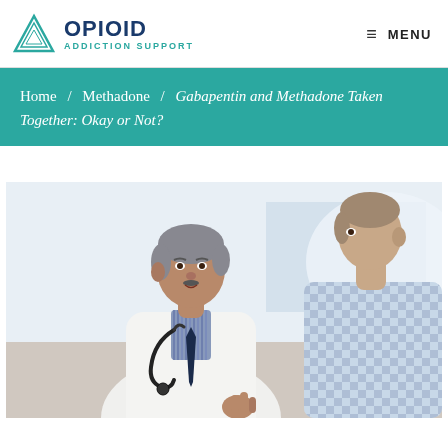OPIOID ADDICTION SUPPORT  ≡ MENU
Home / Methadone / Gabapentin and Methadone Taken Together: Okay or Not?
[Figure (photo): A doctor in a white lab coat with a stethoscope gesturing while speaking with a male patient in a checkered shirt, in a clinical setting]